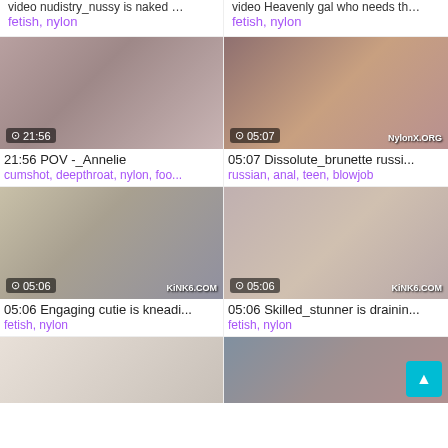…video nudistry_nussy is naked … (truncated title)
fetish, nylon
…video Heavenly gal who needs th… (truncated title)
fetish, nylon
[Figure (photo): Video thumbnail showing 21:56 duration]
21:56 POV -_Annelie
cumshot, deepthroat, nylon, foo...
[Figure (photo): Video thumbnail showing 05:07 duration, NylonX.ORG watermark]
05:07 Dissolute_brunette russi...
russian, anal, teen, blowjob
[Figure (photo): Video thumbnail showing 05:06 duration, KiNK6.COM watermark]
05:06 Engaging cutie is kneadi...
fetish, nylon
[Figure (photo): Video thumbnail showing 05:06 duration, KiNK6.COM watermark]
05:06 Skilled_stunner is drainin...
fetish, nylon
[Figure (photo): Partial video thumbnail (bottom of page, left)]
[Figure (photo): Partial video thumbnail (bottom of page, right)]